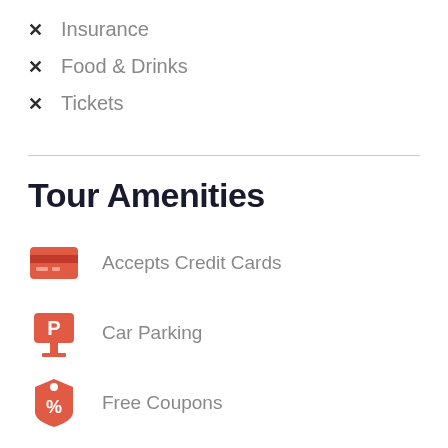✕ Insurance
✕ Food & Drinks
✕ Tickets
Tour Amenities
Accepts Credit Cards
Car Parking
Free Coupons